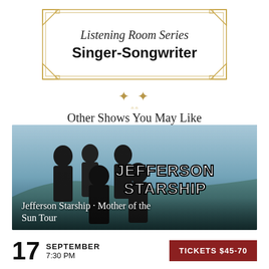Listening Room Series Singer-Songwriter
Other Shows You May Like
[Figure (photo): Promotional photo of Jefferson Starship band members with 'Jefferson Starship' logo text overlay and caption 'Jefferson Starship · Mother of the Sun Tour']
17 September 7:30 PM
Tickets $45-70